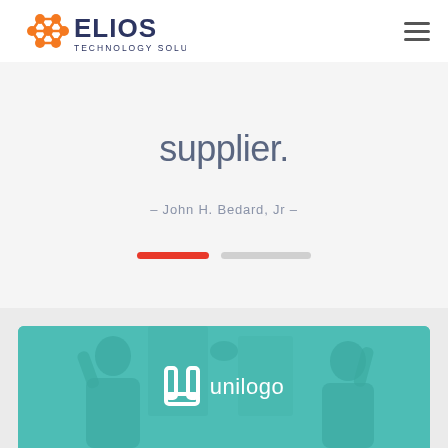[Figure (logo): Elios Technology Solutions logo — orange molecule-like hexagonal icon on the left, with ELIOS in bold dark blue and TECHNOLOGY SOLUTIONS in smaller dark blue text beneath]
supplier.
– John H. Bedard, Jr –
[Figure (infographic): Slide progress indicators: one active red pill and one inactive gray pill]
[Figure (photo): Teal-tinted photo of people giving a high five, overlaid with a white U-shaped bracket logo icon and the text 'unilogo']